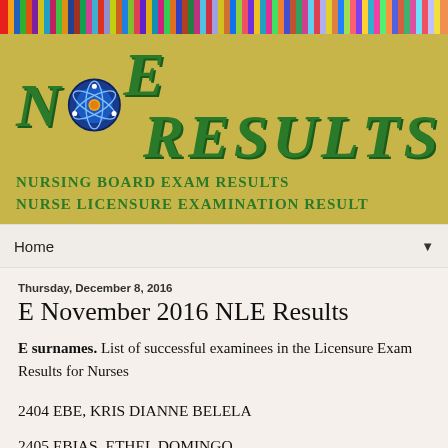[Figure (illustration): NLE Results website header with colorful book spines strip at top, tan/gold background with large green bold italic 'NLE RESULTS' text incorporating an atom logo, subtitles 'Nursing Board Exam Results' and 'Nurse Licensure Examination Result']
Home ▼
Thursday, December 8, 2016
E November 2016 NLE Results
E surnames. List of successful examinees in the Licensure Exam Results for Nurses
2404 EBE, KRIS DIANNE BELELA
2405 EBIAS, ETHEL DOMINGO